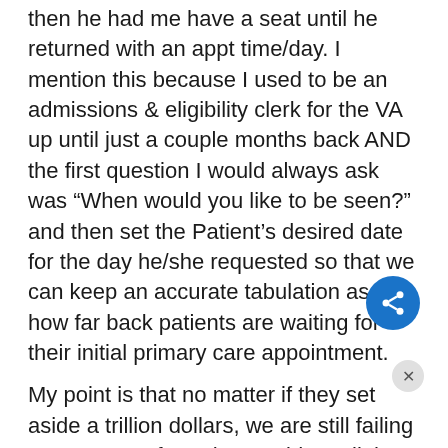then he had me have a seat until he returned with an appt time/day. I mention this because I used to be an admissions & eligibility clerk for the VA up until just a couple months back AND the first question I would always ask was “When would you like to be seen?” and then set the Patient’s desired date for the day he/she requested so that we can keep an accurate tabulation as to how far back patients are waiting for their initial primary care appointment.
My point is that no matter if they set aside a trillion dollars, we are still failing our veterans from the providers all the way down to the clerks in the most basic of customer care needs. I asked to see and was shown that the specialist had put a Desired date of late February in the system BUT keep in mind, I was never asked. That’s how the books are still being cooked AND with these changes...